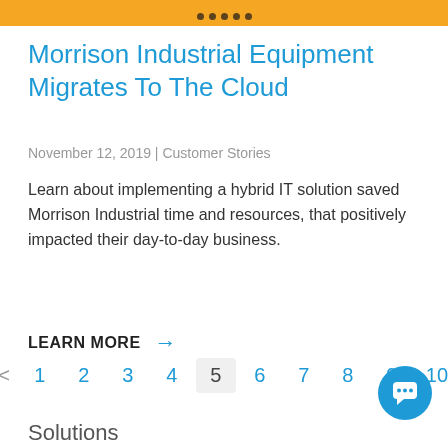[Figure (other): Orange header bar with dark dots pagination indicator]
Morrison Industrial Equipment Migrates To The Cloud
November 12, 2019 | Customer Stories
Learn about implementing a hybrid IT solution saved Morrison Industrial time and resources, that positively impacted their day-to-day business.
LEARN MORE →
< 1 2 3 4 5 6 7 8 9 10
Solutions